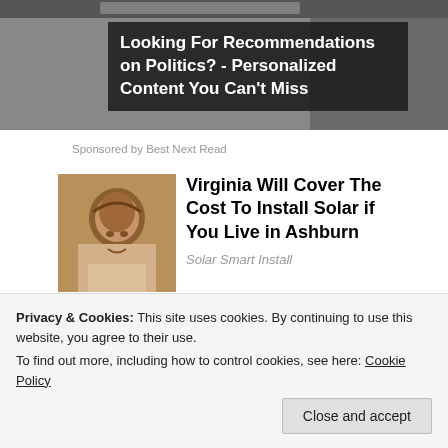[Figure (photo): Dark-toned banner image, partially visible at top]
Looking For Recommendations on Politics? - Personalized Content You Can't Miss
Sponsored by Best Next Read
[Figure (photo): Close-up portrait of an older Black man]
Virginia Will Cover The Cost To Install Solar if You Live in Ashburn
Solar Smart Install
[Figure (photo): Two men in suits, one kissing the other on the cheek]
[Photos] At 67, John Travolta Lives In This House.
Medicare Records
Privacy & Cookies: This site uses cookies. By continuing to use this website, you agree to their use.
To find out more, including how to control cookies, see here: Cookie Policy
Close and accept